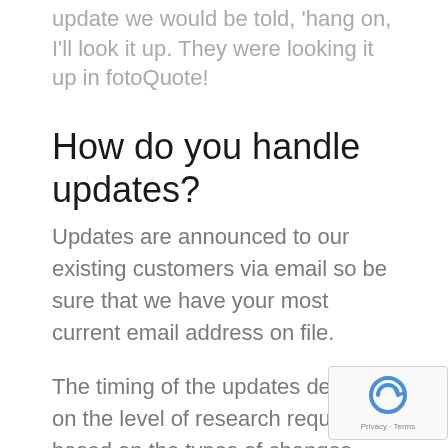update we would be told, 'hang on, I'll look it up. They were looking it up in fotoQuote!
How do you handle updates?
Updates are announced to our existing customers via email so be sure that we have your most current email address on file.
The timing of the updates depends on the level of research required based on the types of changes occurring in the industry. Because we work within